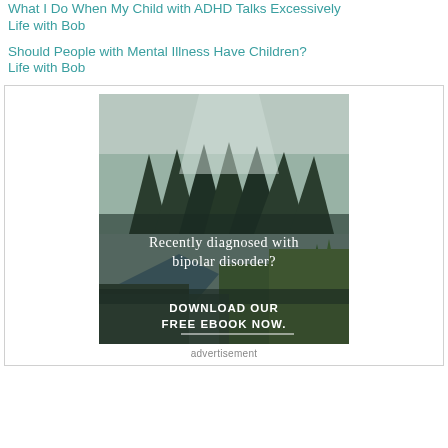What I Do When My Child with ADHD Talks Excessively
Life with Bob
Should People with Mental Illness Have Children?
Life with Bob
[Figure (photo): Forest scene with river and trees, overlaid with text: 'Recently diagnosed with bipolar disorder? DOWNLOAD OUR FREE EBOOK NOW.']
advertisement